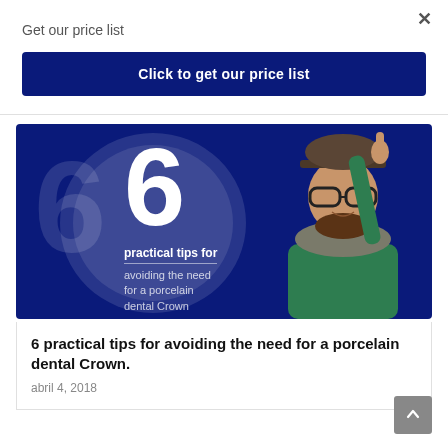Get our price list
×
Click to get our price list
[Figure (illustration): Promotional banner showing a large number 6 with circle design on a dark navy background, next to a photo of a bearded man with hat and glasses wearing a green sweater, pointing upward with one finger. Text reads: 6 practical tips for avoiding the need for a porcelain dental Crown.]
6 practical tips for avoiding the need for a porcelain dental Crown.
abril 4, 2018